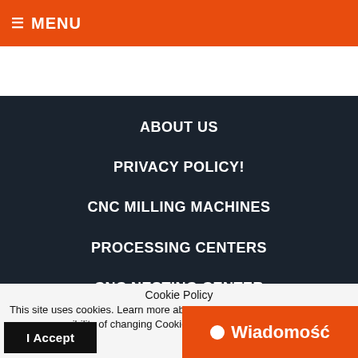☰ MENU
ABOUT US
PRIVACY POLICY!
CNC MILLING MACHINES
PROCESSING CENTERS
CNC NESTING CENTER
Cookie Policy
This site uses cookies. Learn more about the purpose of their use and the possibility of changing Cookies settings in your browser.
I Accept
Wiadomość